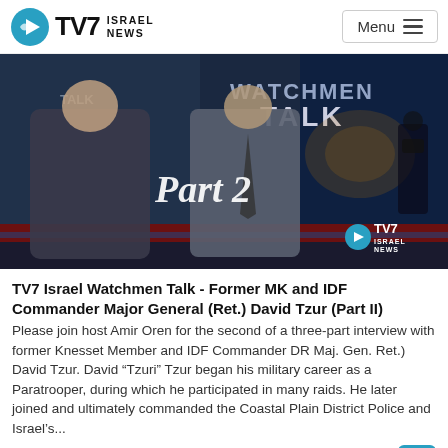TV7 ISRAEL NEWS | Menu
[Figure (photo): Two men standing in a TV studio with 'WATCHMEN TALK' signage and Jerusalem imagery in the background. Text overlay reads 'Part 2'. TV7 Israel News logo visible in bottom right corner.]
TV7 Israel Watchmen Talk - Former MK and IDF Commander Major General (Ret.) David Tzur (Part II)
Please join host Amir Oren for the second of a three-part interview with former Knesset Member and IDF Commander DR Maj. Gen. Ret.) David Tzur. David “Tzuri” Tzur began his military career as a Paratrooper, during which he participated in many raids. He later joined and ultimately commanded the Coastal Plain District Police and Israel’s...
January 22, 2022 | 3389 views